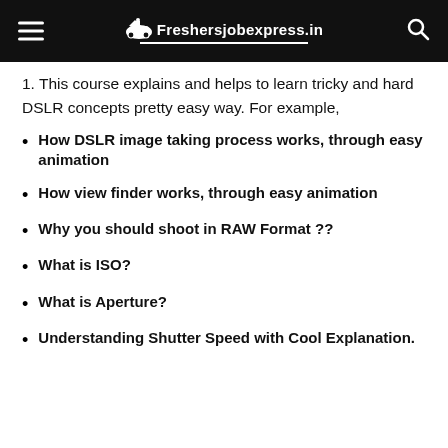Freshersjobexpress.in
1. This course explains and helps to learn tricky and hard DSLR concepts pretty easy way. For example,
How DSLR image taking process works, through easy animation
How view finder works, through easy animation
Why you should shoot in RAW Format ??
What is ISO?
What is Aperture?
Understanding Shutter Speed with Cool Explanation.